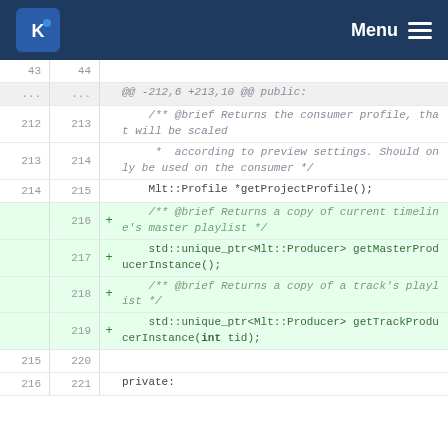KDE Menu
Diff view showing code changes: lines 43-44, ..., 212-221 with added lines 216-219 for getMasterProducerInstance and getTrackProducerInstance methods.